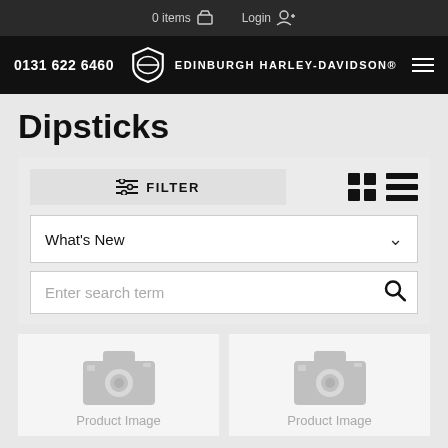0 items  Login
0131 622 6460  EDINBURGH HARLEY-DAVIDSON®
Dipsticks
FILTER
What's New
Enter search term
[Figure (screenshot): Product image placeholder with camera icon - left card]
[Figure (screenshot): Product image placeholder with camera icon - right card]